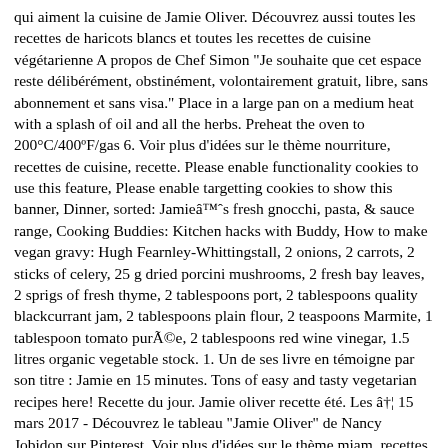qui aiment la cuisine de Jamie Oliver. Découvrez aussi toutes les recettes de haricots blancs et toutes les recettes de cuisine végétarienne A propos de Chef Simon "Je souhaite que cet espace reste délibérément, obstinément, volontairement gratuit, libre, sans abonnement et sans visa." Place in a large pan on a medium heat with a splash of oil and all the herbs. Preheat the oven to 200°C/400ºF/gas 6. Voir plus d'idées sur le thème nourriture, recettes de cuisine, recette. Please enable functionality cookies to use this feature, Please enable targetting cookies to show this banner, Dinner, sorted: Jamieâs fresh gnocchi, pasta, & sauce range, Cooking Buddies: Kitchen hacks with Buddy, How to make vegan gravy: Hugh Fearnley-Whittingstall, 2 onions, 2 carrots, 2 sticks of celery, 25 g dried porcini mushrooms, 2 fresh bay leaves, 2 sprigs of fresh thyme, 2 tablespoons port, 2 tablespoons quality blackcurrant jam, 2 tablespoons plain flour, 2 teaspoons Marmite, 1 tablespoon tomato purée, 2 tablespoons red wine vinegar, 1.5 litres organic vegetable stock. 1. Un de ses livre en témoigne par son titre : Jamie en 15 minutes. Tons of easy and tasty vegetarian recipes here! Recette du jour. Jamie oliver recette été. Les â¦ 15 mars 2017 - Découvrez le tableau "Jamie Oliver" de Nancy Jobidon sur Pinterest. Voir plus d'idées sur le thème miam, recettes de cuisine, recette. 26 mai 2019 - Explorez le tableau « Miam plats » de Valérie Delahaye, auquel 333 utilisateurs de Pinterest sont abonnés. Enjoy the videos and music you love, upload original content, and share it all with friends, family, and the world on YouTube. How can Jamie Oliver â¦ recette commence.